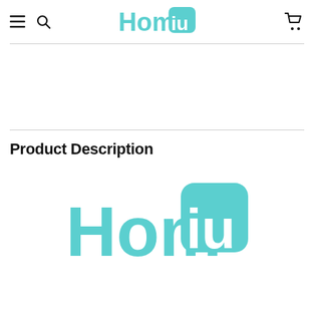Homiu
Product Description
[Figure (logo): Homiu brand logo — teal/turquoise text reading Homiu with a rounded square badge shape around the 'iu' portion]